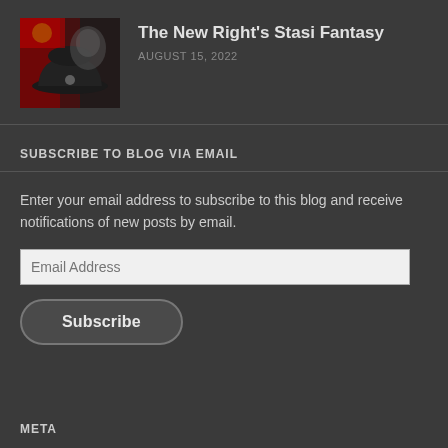[Figure (photo): Thumbnail image showing a military cap against a red/dark background with a face overlay — article image for 'The New Right's Stasi Fantasy']
The New Right's Stasi Fantasy
AUGUST 15, 2022
SUBSCRIBE TO BLOG VIA EMAIL
Enter your email address to subscribe to this blog and receive notifications of new posts by email.
Email Address
Subscribe
META